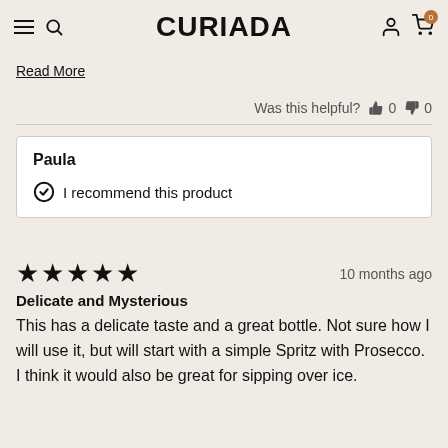CURIADA
Read More
Was this helpful? 👍 0 👎 0
Paula
I recommend this product
★★★★★   10 months ago
Delicate and Mysterious
This has a delicate taste and a great bottle. Not sure how I will use it, but will start with a simple Spritz with Prosecco. I think it would also be great for sipping over ice.